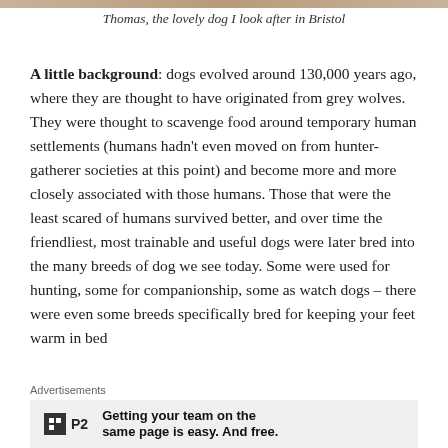[Figure (photo): Cropped image strip at top of page showing a dog named Thomas in Bristol]
Thomas, the lovely dog I look after in Bristol
A little background: dogs evolved around 130,000 years ago, where they are thought to have originated from grey wolves. They were thought to scavenge food around temporary human settlements (humans hadn't even moved on from hunter-gatherer societies at this point) and become more and more closely associated with those humans. Those that were the least scared of humans survived better, and over time the friendliest, most trainable and useful dogs were later bred into the many breeds of dog we see today. Some were used for hunting, some for companionship, some as watch dogs – there were even some breeds specifically bred for keeping your feet warm in bed
Advertisements
[Figure (other): Advertisement banner for P2 with logo and text: Getting your team on the same page is easy. And free.]